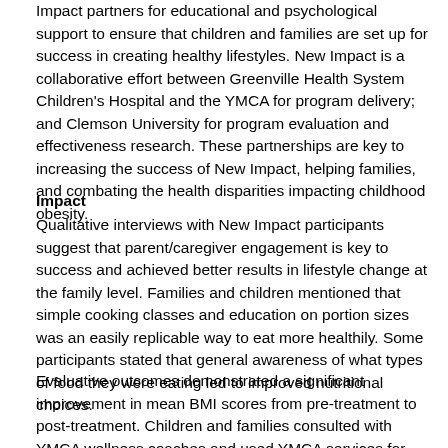Impact partners for educational and psychological support to ensure that children and families are set up for success in creating healthy lifestyles. New Impact is a collaborative effort between Greenville Health System Children's Hospital and the YMCA for program delivery; and Clemson University for program evaluation and effectiveness research. These partnerships are key to increasing the success of New Impact, helping families, and combating the health disparities impacting childhood obesity.
Impact
Qualitative interviews with New Impact participants suggest that parent/caregiver engagement is key to success and achieved better results in lifestyle change at the family level. Families and children mentioned that simple cooking classes and education on portion sizes was an easily replicable way to eat more healthily. Some participants stated that general awareness of what types of food they were eating led to improved nutritional choices.
Evaluative outcomes demonstrated a significant improvement in mean BMI scores from pre-treatment to post-treatment. Children and families consulted with YMCA wellness coaches and used YMCA services for enhancements. New Impact also showed...